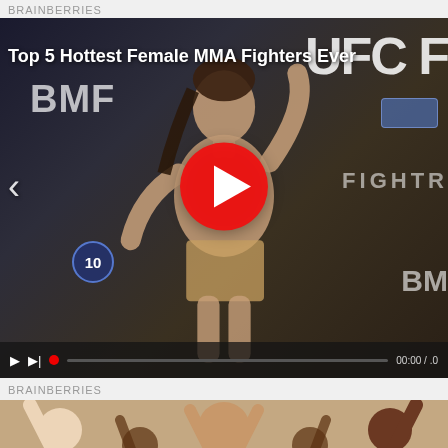BRAINBERRIES
[Figure (screenshot): Video player showing MMA female fighter at weigh-in with UFC branding. Title overlay reads 'Top 5 Hottest Female MMA Fighters Ever'. Large red play button in center. Video controls bar at bottom with timestamp 00:00/.0.]
BRAINBERRIES
[Figure (photo): Photo of women in nude/beige bodysuits, one central figure facing camera, others with arms raised.]